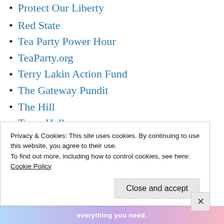Protect Our Liberty
Red State
Tea Party Power Hour
TeaParty.org
Terry Lakin Action Fund
The Gateway Pundit
The Hill
Town Hall
Trevor Loudon New Zeal
Twitter
Understanding the Threat
Privacy & Cookies: This site uses cookies. By continuing to use this website, you agree to their use.
To find out more, including how to control cookies, see here:
Cookie Policy
Close and accept